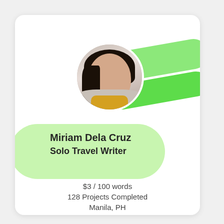[Figure (photo): Profile photo of a young woman with long black hair, smiling, wearing a light gray cardigan over a yellow top, circular crop]
Miriam Dela Cruz
Solo Travel Writer
$3 / 100 words
128 Projects Completed
Manila, PH